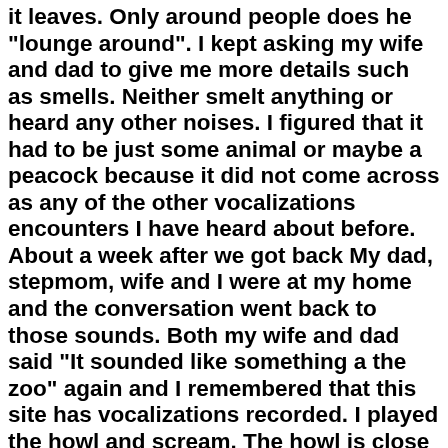it leaves. Only around people does he 'lounge around'. I kept asking my wife and dad to give me more details such as smells. Neither smelt anything or heard any other noises. I figured that it had to be just some animal or maybe a peacock because it did not come across as any of the other vocalizations encounters I have heard about before. About a week after we got back My dad, stepmom, wife and I were at my home and the conversation went back to those sounds. Both my wife and dad said "It sounded like something a the zoo" again and I remembered that this site has vocalizations recorded. I played the howl and scream. The howl is close to what I heard only much longer, lower in pitch and slower. When I played the scream both my dad and wife "went white". My dad jumped up and said "that's it!, that's what I heard only there was like a chattering at the end". My wife refused to discuss it any further and acted both scared and mad. Please note I have 3 kids ages 3-10 years old and they nor my dog heard or seemed to hear anything. I hesitated about posting this report until I read the most recent postings about the vocalizations, especially the sightings of a bigfoot up in a tree. I have never heard that these things could climb before. Also how my dog did not react to any of the sounds, I noticed in another report how some dogs will react and in one case the dog did not at a sighting.